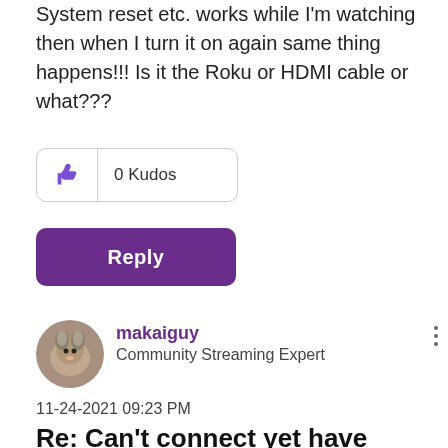System reset etc. works while I'm watching then when I turn it on again same thing happens!!! Is it the Roku or HDMI cable or what???
[Figure (other): Kudos button with thumbs up icon and 0 Kudos label]
[Figure (other): Purple Reply button]
[Figure (other): User avatar showing a dog photo, circular]
makaiguy
Community Streaming Expert
11-24-2021 09:23 PM
Re: Can't connect yet have strong wifi connection.
If you are powering your Roku by plugging into a USB port in the tv that shuts down when the tv shuts down, try plugging directly into house power